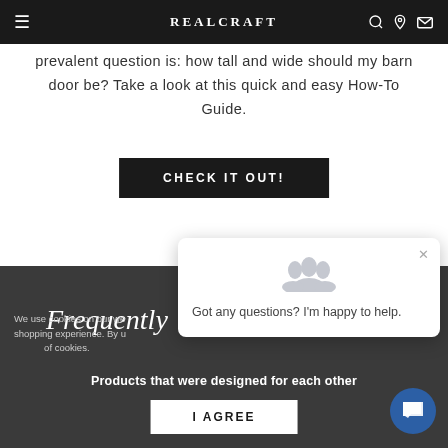REALCRAFT
prevalent question is: how tall and wide should my barn door be? Take a look at this quick and easy How-To Guide.
CHECK IT OUT!
We use cookies on our website to give you the best shopping experience. By using this site, you agree to its use of cookies.
Frequently
Products that were designed for each other
I AGREE
[Figure (screenshot): Chat popup with group avatar icon showing 'Got any questions? I'm happy to help.' message with X close button]
[Figure (illustration): Blue circular chat bubble button in bottom right corner]